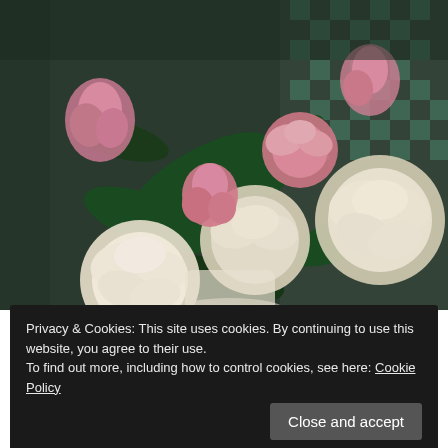[Figure (photo): Overhead photo of pink and white peony flowers in a white vase on a green and white checkered tablecloth, dark moody tones]
Privacy & Cookies: This site uses cookies. By continuing to use this website, you agree to their use.
To find out more, including how to control cookies, see here: Cookie Policy
Close and accept
OF ROCK